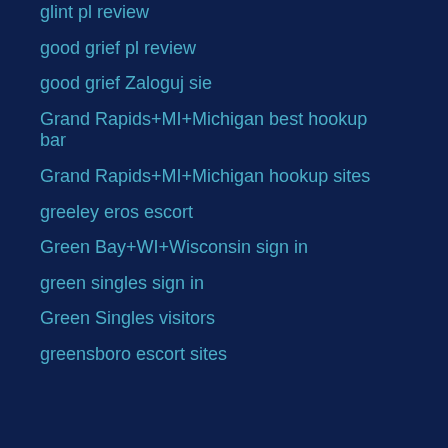glint pl review
good grief pl review
good grief Zaloguj sie
Grand Rapids+MI+Michigan best hookup bar
Grand Rapids+MI+Michigan hookup sites
greeley eros escort
Green Bay+WI+Wisconsin sign in
green singles sign in
Green Singles visitors
greensboro escort sites